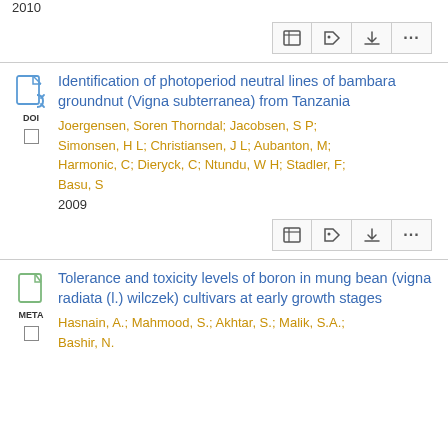2010
[Figure (other): Toolbar with table, tag, download, and more icons]
Identification of photoperiod neutral lines of bambara groundnut (Vigna subterranea) from Tanzania
Joergensen, Soren Thorndal; Jacobsen, S P; Simonsen, H L; Christiansen, J L; Aubanton, M; Harmonic, C; Dieryck, C; Ntundu, W H; Stadler, F; Basu, S
2009
[Figure (other): Toolbar with table, tag, download, and more icons]
Tolerance and toxicity levels of boron in mung bean (vigna radiata (l.) wilczek) cultivars at early growth stages
Hasnain, A.; Mahmood, S.; Akhtar, S.; Malik, S.A.; Bashir, N.